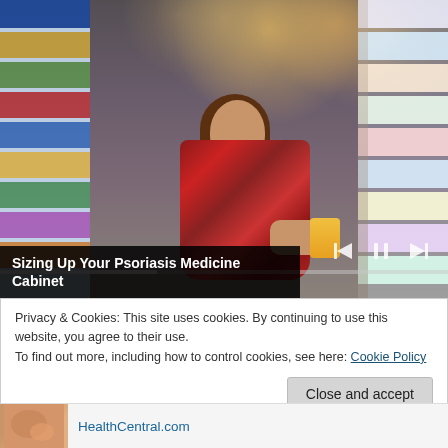[Figure (photo): A woman in a red plaid shirt crouching in a pharmacy or grocery store aisle, reading the label on a product she picked up from a shelf. Store shelves with products visible on both sides. Media player controls visible at bottom right of image.]
Sizing Up Your Psoriasis Medicine Cabinet
Privacy & Cookies: This site uses cookies. By continuing to use this website, you agree to their use.
To find out more, including how to control cookies, see here: Cookie Policy
Close and accept
HealthCentral.com